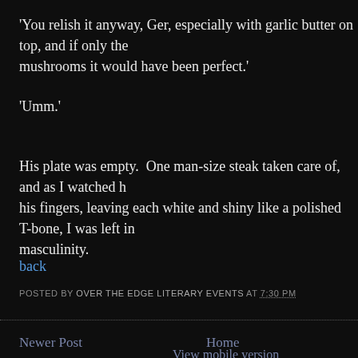'You relish it anyway, Ger, especially with garlic butter on top, and if only the mushrooms it would have been perfect.'
'Umm.'
His plate was empty.  One man-size steak taken care of, and as I watched his fingers, leaving each white and shiny like a polished T-bone, I was left in masculinity.
back
POSTED BY OVER THE EDGE LITERARY EVENTS AT 7:30 PM
Newer Post
Home
View mobile version